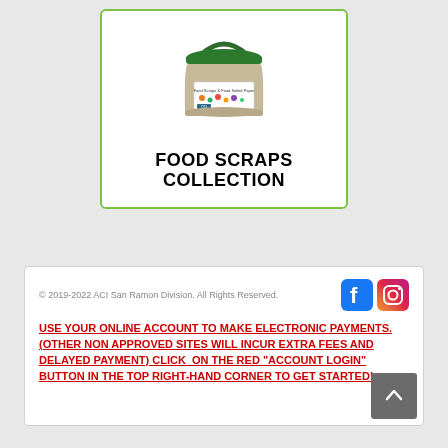[Figure (illustration): Food scraps collection bucket illustration with green lid and handle, showing a label with food items, inside a green-bordered white card with text 'FOOD SCRAPS COLLECTION' below]
© 2019-2022 ACI San Ramon Division. All Rights Reserved.
USE YOUR ONLINE ACCOUNT TO MAKE ELECTRONIC PAYMENTS. (OTHER NON APPROVED SITES WILL INCUR EXTRA FEES AND DELAYED PAYMENT) CLICK ON THE RED "ACCOUNT LOGIN" BUTTON IN THE TOP RIGHT-HAND CORNER TO GET STARTED!